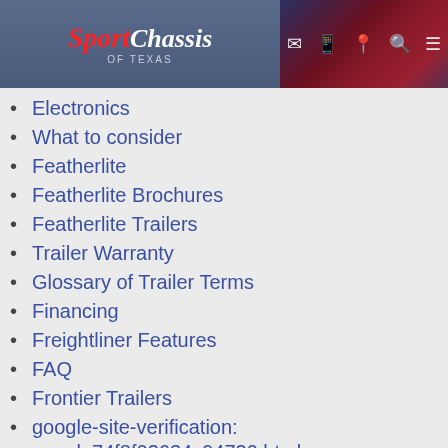[Figure (screenshot): SportChassis of Texas website header with logo on left and navigation icons on right against a red/blue gradient background]
Electronics
What to consider
Featherlite
Featherlite Brochures
Featherlite Trailers
Trailer Warranty
Glossary of Trailer Terms
Financing
Freightliner Features
FAQ
Frontier Trailers
google-site-verification: google74f8f02634c94720.html
Interior
Interior
MAVERICK
MAVERICK LS
New Inventory
Options
Options
P2
P2
P4Xl